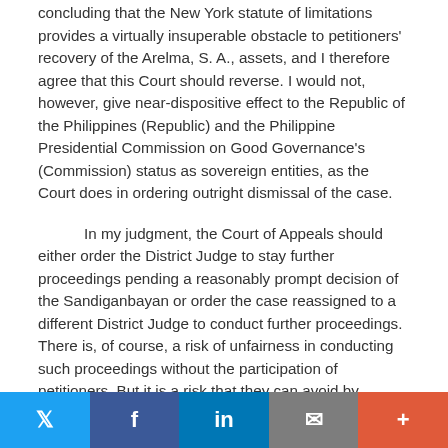concluding that the New York statute of limitations provides a virtually insuperable obstacle to petitioners' recovery of the Arelma, S. A., assets, and I therefore agree that this Court should reverse. I would not, however, give near-dispositive effect to the Republic of the Philippines (Republic) and the Philippine Presidential Commission on Good Governance's (Commission) status as sovereign entities, as the Court does in ordering outright dismissal of the case.

In my judgment, the Court of Appeals should either order the District Judge to stay further proceedings pending a reasonably prompt decision of the Sandiganbayan or order the case reassigned to a different District Judge to conduct further proceedings. There is, of course, a risk of unfairness in conducting such proceedings without the participation of petitioners. But it is a risk that they can avoid by waiving their sovereign immunity, and the record provides a basis for
Twitter | Facebook | LinkedIn | Email | More